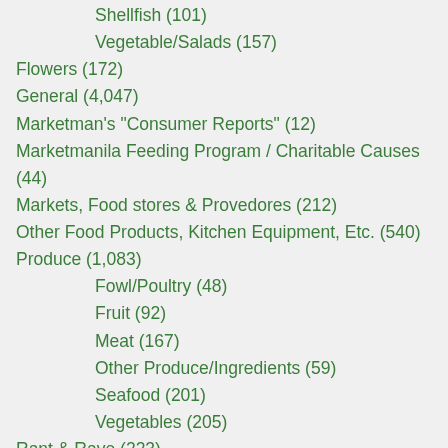Shellfish (101)
Vegetable/Salads (157)
Flowers (172)
General (4,047)
Marketman's "Consumer Reports" (12)
Marketmanila Feeding Program / Charitable Causes (44)
Markets, Food stores & Provedores (212)
Other Food Products, Kitchen Equipment, Etc. (540)
Produce (1,083)
Fowl/Poultry (48)
Fruit (92)
Meat (167)
Other Produce/Ingredients (59)
Seafood (201)
Vegetables (205)
Rant & Rave (223)
Recipes and Menus (1,475)